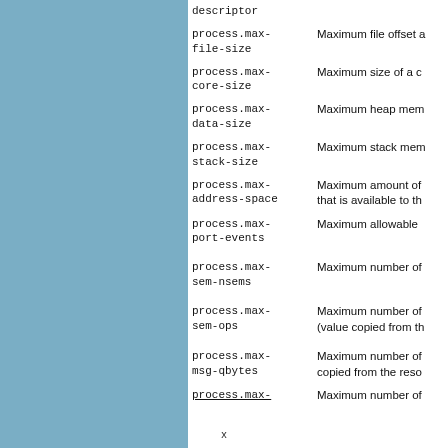| Term | Description |
| --- | --- |
| descriptor |  |
| process.max-file-size | Maximum file offset a |
| process.max-core-size | Maximum size of a c |
| process.max-data-size | Maximum heap mem |
| process.max-stack-size | Maximum stack mem |
| process.max-address-space | Maximum amount of that is available to th |
| process.max-port-events | Maximum allowable |
| process.max-sem-nsems | Maximum number of |
| process.max-sem-ops | Maximum number of (value copied from th |
| process.max-msg-qbytes | Maximum number of copied from the reso |
| process.max- | Maximum number of |
x